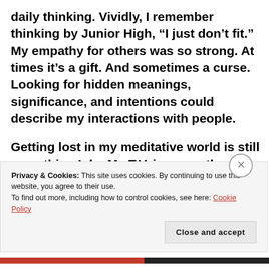daily thinking. Vividly, I remember thinking by Junior High, “I just don’t fit.” My empathy for others was so strong. At times it’s a gift. And sometimes a curse. Looking for hidden meanings, significance, and intentions could describe my interactions with people.
Getting lost in my meditative world is still something I do. My T.V. is currently off. Notifications are off. Phone is silent. The light of the day is streaming into my camper window. The shadows of the trees are dancing on the floor. The rest
Privacy & Cookies: This site uses cookies. By continuing to use this website, you agree to their use.
To find out more, including how to control cookies, see here: Cookie Policy
Close and accept